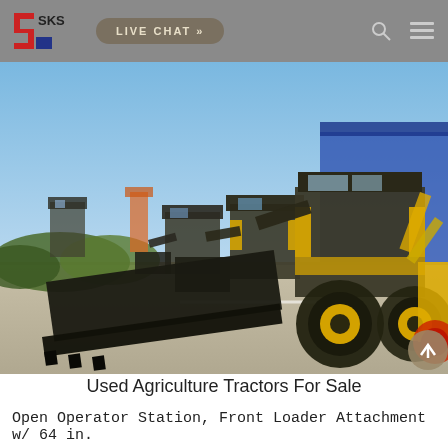SKS — LIVE CHAT »
[Figure (photo): Row of yellow and black backhoe loaders / front loader tractors parked in a yard with blue sky background and a blue industrial building in the background. Multiple machines lined up showing front loader buckets and rear hoe attachments.]
Used Agriculture Tractors For Sale
Open Operator Station, Front Loader Attachment w/ 64 in.